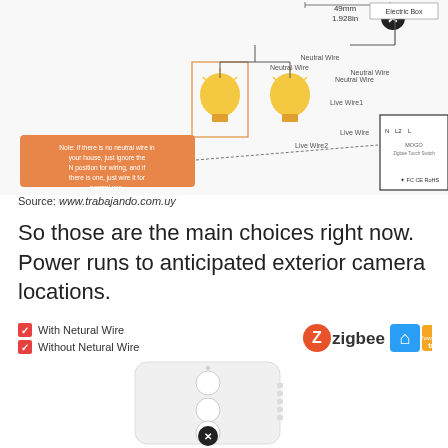[Figure (engineering-diagram): Wiring diagram for Zigbee touch switch showing connections with neutral wire option, light bulbs, electric box, and note about no neutral wire configuration.]
Source: www.trabajando.com.uy
So those are the main choices right now. Power runs to anticipated exterior camera locations.
With Netural Wire
Without Netural Wire
[Figure (photo): White Zigbee smart touch switch device with three circular buttons and side details, shown at an angle.]